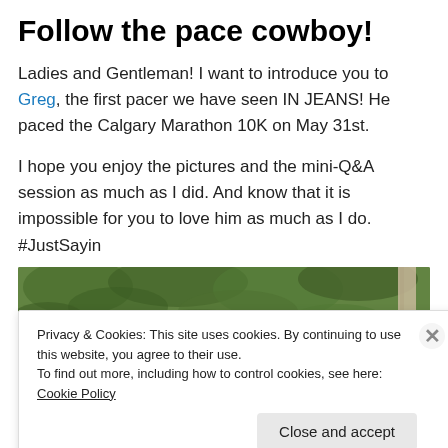Follow the pace cowboy!
Ladies and Gentleman! I want to introduce you to Greg, the first pacer we have seen IN JEANS! He paced the Calgary Marathon 10K on May 31st.
I hope you enjoy the pictures and the mini-Q&A session as much as I did. And know that it is impossible for you to love him as much as I do. #JustSayin
[Figure (photo): Outdoor photo showing green foliage/trees and a partial view of a light-colored pole or tree trunk on the right side]
Privacy & Cookies: This site uses cookies. By continuing to use this website, you agree to their use.
To find out more, including how to control cookies, see here: Cookie Policy
Close and accept